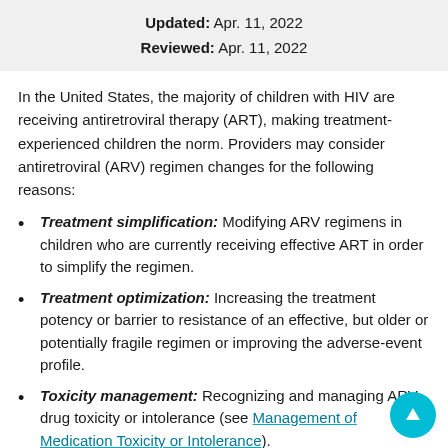Updated: Apr. 11, 2022
Reviewed: Apr. 11, 2022
In the United States, the majority of children with HIV are receiving antiretroviral therapy (ART), making treatment-experienced children the norm. Providers may consider antiretroviral (ARV) regimen changes for the following reasons:
Treatment simplification: Modifying ARV regimens in children who are currently receiving effective ART in order to simplify the regimen.
Treatment optimization: Increasing the treatment potency or barrier to resistance of an effective, but older or potentially fragile regimen or improving the adverse-event profile.
Toxicity management: Recognizing and managing ARV drug toxicity or intolerance (see Management of Medication Toxicity or Intolerance).
Treatment failure: Recognizing and managing treatment failure (see Recognizing and Managing Antiretroviral Treatment Failure).